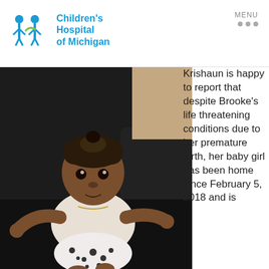[Figure (logo): Children's Hospital of Michigan logo with two child figures in blue]
MENU
[Figure (photo): Baby girl sitting in a black chair, wearing a white top with dalmatian print skirt, arms extended outward, curly hair]
Krishaun is happy to report that despite Brooke's life threatening conditions due to her premature birth, her baby girl has been home since February 5, 2018 and is